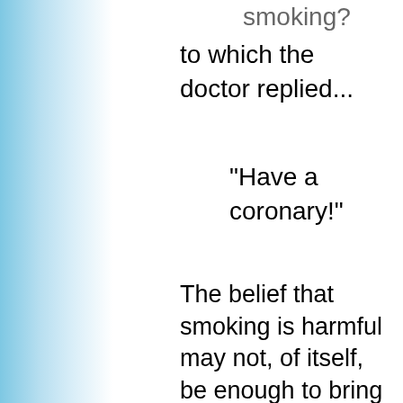smoking?
to which the doctor replied...
"Have a coronary!"
The belief that smoking is harmful may not, of itself, be enough to bring about a change. A coronary attach, on the other hand, demonstrates that mortality is more than an empty concept. The risk of death provides the emotional component. Quitting is then more likely to occur.